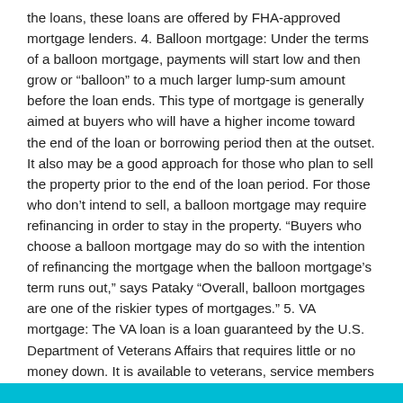the loans, these loans are offered by FHA-approved mortgage lenders. 4. Balloon mortgage: Under the terms of a balloon mortgage, payments will start low and then grow or “balloon” to a much larger lump-sum amount before the loan ends. This type of mortgage is generally aimed at buyers who will have a higher income toward the end of the loan or borrowing period then at the outset. It also may be a good approach for those who plan to sell the property prior to the end of the loan period. For those who don’t intend to sell, a balloon mortgage may require refinancing in order to stay in the property. “Buyers who choose a balloon mortgage may do so with the intention of refinancing the mortgage when the balloon mortgage’s term runs out,” says Pataky “Overall, balloon mortgages are one of the riskier types of mortgages.” 5. VA mortgage: The VA loan is a loan guaranteed by the U.S. Department of Veterans Affairs that requires little or no money down. It is available to veterans, service members and eligible military spouses. The loan itself isn’t actually made by the government, but it is backed by a government agency, which is designed to make lenders feel more comfortable in offering the loan. As a result of the government backing, lenders often offer these loans without requiring a down payment and with looser credit parameters.